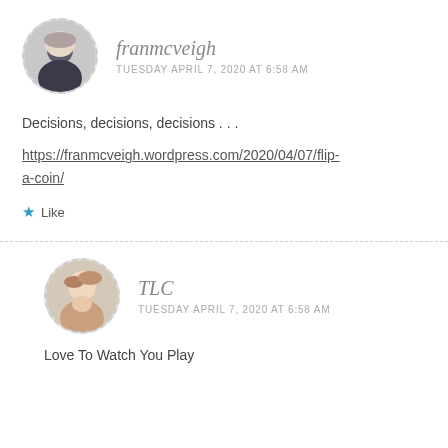franmcveigh
TUESDAY APRIL 7, 2020 AT 6:58 AM
Decisions, decisions, decisions . . .
https://franmcveigh.wordpress.com/2020/04/07/flip-a-coin/
Like
TLC
TUESDAY APRIL 7, 2020 AT 6:58 AM
Love To Watch You Play